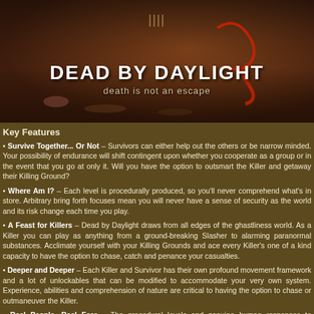[Figure (photo): Dead by Daylight game banner showing a dark horror scene with a hand in leaves, red hook/scythe, and game logo with tagline 'death is not an escape']
Key Features
Survive Together... Or Not – Survivors can either help out the others or be narrow minded. Your possibility of endurance will shift contingent upon whether you cooperate as a group or in the event that you go at only it. Will you have the option to outsmart the Killer and getaway their Killing Ground?
Where Am I? – Each level is procedurally produced, so you'll never comprehend what's in store. Arbitrary bring forth focuses mean you will never have a sense of security as the world and its risk change each time you play.
A Feast for Killers – Dead by Daylight draws from all edges of the ghastliness world. As a Killer you can play as anything from a ground-breaking Slasher to alarming paranormal substances. Acclimate yourself with your Killing Grounds and ace every Killer's one of a kind capacity to have the option to chase, catch and penance your casualties.
Deeper and Deeper – Each Killer and Survivor has their own profound movement framework and a lot of unlockables that can be modified to accommodate your very own system. Experience, abilities and comprehension of nature are critical to having the option to chase or outmaneuver the Killer.
Real People, Real Fear – The procedural levels and genuine human responses to unadulterated frightfulness makes each game meeting a sudden situation. You will always be unable to advise...